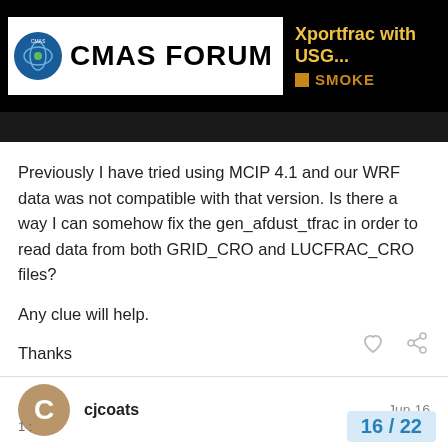CMAS FORUM — Xportfrac with USG... SMOKE
Previously I have tried using MCIP 4.1 and our WRF data was not compatible with that version. Is there a way I can somehow fix the gen_afdust_tfrac in order to read data from both GRID_CRO and LUCFRAC_CRO files?
Any clue will help.
Thanks
cjcoats  Jun 16
Build all your netCDF libraries the way that is recommended for the I/O API – see https://cjcoats.github.io/io...